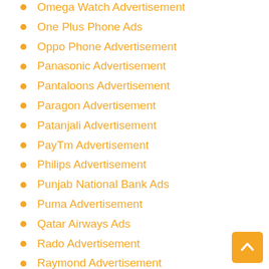Omega Watch Advertisement
One Plus Phone Ads
Oppo Phone Advertisement
Panasonic Advertisement
Pantaloons Advertisement
Paragon Advertisement
Patanjali Advertisement
PayTm Advertisement
Philips Advertisement
Punjab National Bank Ads
Puma Advertisement
Qatar Airways Ads
Rado Advertisement
Raymond Advertisement
Redmi Advertisement